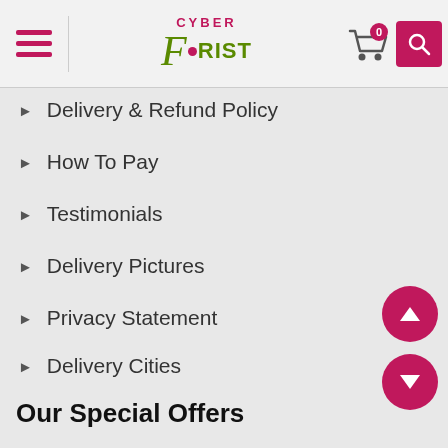Cyber Florist - navigation header with cart (0) and search
Delivery & Refund Policy
How To Pay
Testimonials
Delivery Pictures
Privacy Statement
Delivery Cities
Our Special Offers
Current promotions
Sales
Our Bestsellers
Roses in Moscow